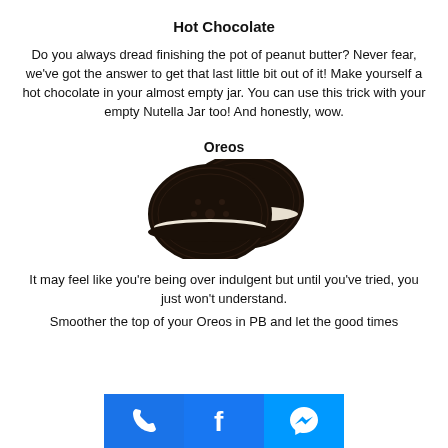Hot Chocolate
Do you always dread finishing the pot of peanut butter? Never fear, we've got the answer to get that last little bit out of it! Make yourself a hot chocolate in your almost empty jar. You can use this trick with your empty Nutella Jar too! And honestly, wow.
Oreos
[Figure (photo): Two Oreo cookies, dark chocolate sandwich cookies with white cream filling, one slightly overlapping the other, photographed on a white background.]
It may feel like you're being over indulgent but until you've tried, you just won't understand.
Smoother the top of your Oreos in PB and let the good times
[Figure (infographic): Three social media/contact icons at the bottom of the page: a phone icon (blue background), a Facebook 'f' icon (blue background), and a Facebook Messenger icon (light blue background).]